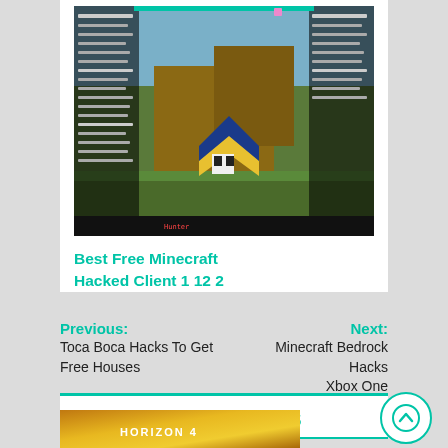[Figure (screenshot): Minecraft game screenshot showing hacked client with overlay menus on left and right sides, character with blue and yellow chevron design visible in center-right, blocky terrain in background]
Best Free Minecraft Hacked Client 1 12 2
Previous: Toca Boca Hacks To Get Free Houses
Next: Minecraft Bedrock Hacks Xbox One
RELATED POSTS
[Figure (screenshot): Bottom thumbnail showing Forza Horizon 4 game with autumn landscape]